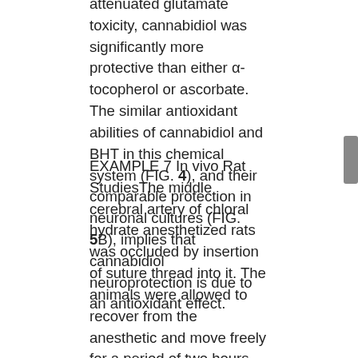attenuated glutamate toxicity, cannabidiol was significantly more protective than either α-tocopherol or ascorbate. The similar antioxidant abilities of cannabidiol and BHT in this chemical system (FIG. 4), and their comparable protection in neuronal cultures (FIG. 5B), implies that cannabidiol neuroprotection is due to an antioxidant effect.
EXAMPLE 7 In vivo Rat StudiesThe middle cerebral artery of chloral hydrate anesthetized rats was occluded by insertion of suture thread into it. The animals were allowed to recover from the anesthetic and move freely for a period of two hours. After this time the suture was removed under mild anesthetic and the animals allowed to recover for 48 hours. Then the animals were tested for neurological deficits, sacrificed, and the infarct volume calculated. To examine the infarct volume, animals were anesthetized, ex-sanguinated, and a metabolically